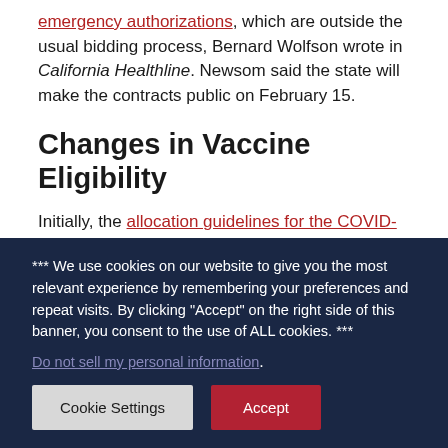emergency authorizations, which are outside the usual bidding process, Bernard Wolfson wrote in California Healthline. Newsom said the state will make the contracts public on February 15.
Changes in Vaccine Eligibility
Initially, the allocation guidelines for the COVID-19 vaccine from the California Department of Public Health (CDPH) prioritized those at high risk of
*** We use cookies on our website to give you the most relevant experience by remembering your preferences and repeat visits. By clicking “Accept” on the right side of this banner, you consent to the use of ALL cookies. ***
Do not sell my personal information.